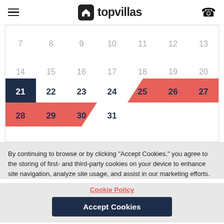[Figure (screenshot): TopVillas website header with hamburger menu, logo, and phone icon]
[Figure (other): Calendar showing dates 7-31 with date 21 highlighted in navy blue, and dates 25-29 highlighted in red/coral]
By continuing to browse or by clicking “Accept Cookies,” you agree to the storing of first- and third-party cookies on your device to enhance site navigation, analyze site usage, and assist in our marketing efforts.
Cookie Policy
Accept Cookies